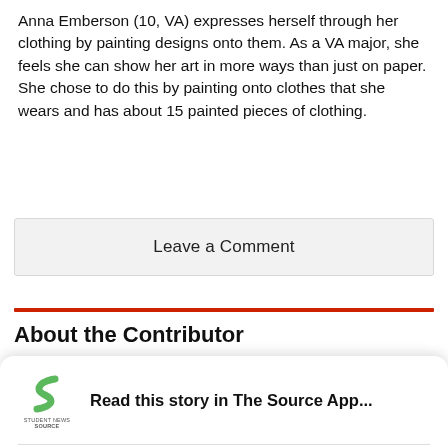Anna Emberson (10, VA) expresses herself through her clothing by painting designs onto them. As a VA major, she feels she can show her art in more ways than just on paper. She chose to do this by painting onto clothes that she wears and has about 15 painted pieces of clothing.
Leave a Comment
About the Contributor
Read this story in The Source App...
Open App
Continue in browser